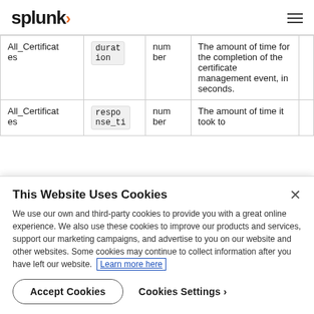splunk> [hamburger menu]
| All_Certificates | duration | number | The amount of time for the completion of the certificate management event, in seconds. |  |
| All_Certificates | respo
nse_ti
me... | num
ber | The amount of time it took to... |  |
This Website Uses Cookies
We use our own and third-party cookies to provide you with a great online experience. We also use these cookies to improve our products and services, support our marketing campaigns, and advertise to you on our website and other websites. Some cookies may continue to collect information after you have left our website. Learn more here
Accept Cookies   Cookies Settings ›